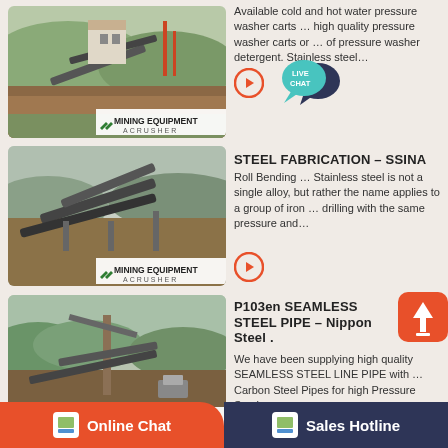[Figure (photo): Mining equipment facility photo 1 with MINING EQUIPMENT ACRUSHER label]
Available cold and hot water pressure washer carts … high quality pressure washer carts or … of pressure washer detergent. Stainless steel…
[Figure (illustration): Live Chat speech bubble icon in teal and dark blue]
[Figure (photo): Mining equipment quarry photo 2 with MINING EQUIPMENT ACRUSHER label]
STEEL FABRICATION – SSINA
Roll Bending … Stainless steel is not a single alloy, but rather the name applies to a group of iron … drilling with the same pressure and…
[Figure (photo): Mining equipment photo 3 with MINING EQUIPMENT ACRUSHER label]
P103en SEAMLESS STEEL PIPE – Nippon Steel .
We have been supplying high quality SEAMLESS STEEL LINE PIPE with … Carbon Steel Pipes for high Pressure Service ……
Online Chat
Sales Hotline